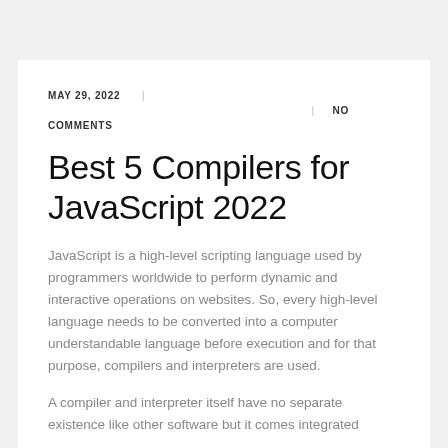MAY 29, 2022 | NO COMMENTS
Best 5 Compilers for JavaScript 2022
JavaScript is a high-level scripting language used by programmers worldwide to perform dynamic and interactive operations on websites. So, every high-level language needs to be converted into a computer understandable language before execution and for that purpose, compilers and interpreters are used.
A compiler and interpreter itself have no separate existence like other software but it comes integrated